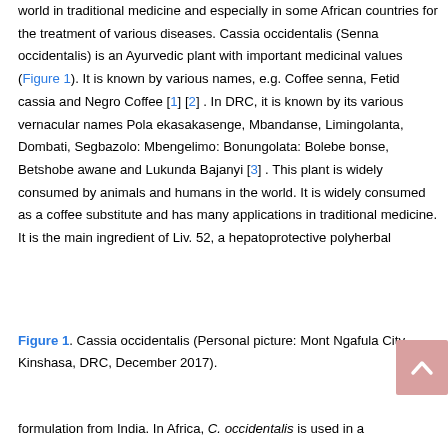world in traditional medicine and especially in some African countries for the treatment of various diseases. Cassia occidentalis (Senna occidentalis) is an Ayurvedic plant with important medicinal values (Figure 1). It is known by various names, e.g. Coffee senna, Fetid cassia and Negro Coffee [1] [2] . In DRC, it is known by its various vernacular names Pola ekasakasenge, Mbandanse, Limingolanta, Dombati, Segbazolo: Mbengelimo: Bonungolata: Bolebe bonse, Betshobe awane and Lukunda Bajanyi [3] . This plant is widely consumed by animals and humans in the world. It is widely consumed as a coffee substitute and has many applications in traditional medicine. It is the main ingredient of Liv. 52, a hepatoprotective polyherbal
Figure 1. Cassia occidentalis (Personal picture: Mont Ngafula City, Kinshasa, DRC, December 2017).
formulation from India. In Africa, C. occidentalis is used in a